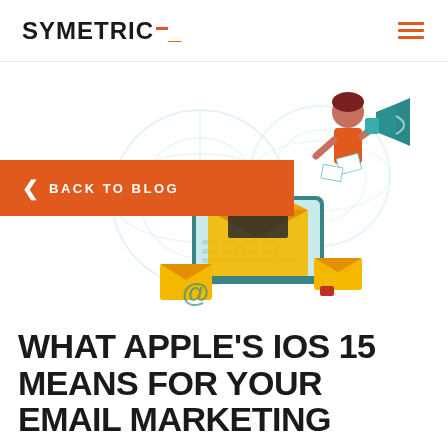SYMETRIC__  [hamburger menu]
[Figure (illustration): Marketing illustration showing a mobile device with email envelope, a person with a megaphone, and email/globe icons on a light background]
< BACK TO BLOG
WHAT APPLE'S IOS 15 MEANS FOR YOUR EMAIL MARKETING